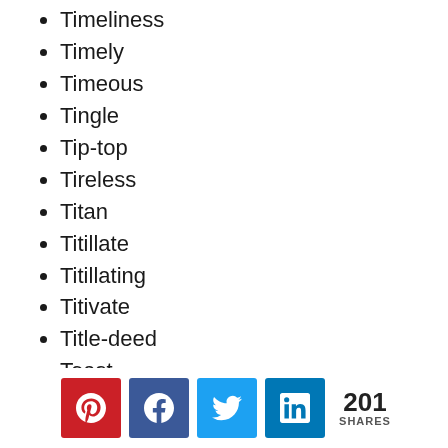Timeliness
Timely
Timeous
Tingle
Tip-top
Tireless
Titan
Titillate
Titillating
Titivate
Title-deed
Toast
Today
Together
Togetherness
Tolerable (partial)
[Figure (infographic): Social sharing bar with Pinterest, Facebook, Twitter, LinkedIn buttons and 201 SHARES count]